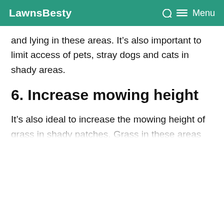LawnsBesty  Menu
and lying in these areas. It’s also important to limit access of pets, stray dogs and cats in shady areas.
6. Increase mowing height
It’s also ideal to increase the mowing height of grass in shady patches. Grass in these areas require large leaf surface area to conduct photosynthesis from little light they get. The more sunlight...